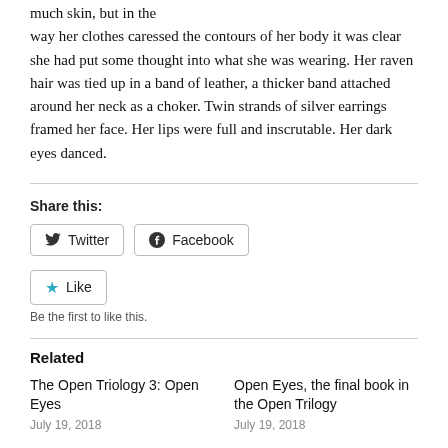much skin, but in the way her clothes caressed the contours of her body it was clear she had put some thought into what she was wearing. Her raven hair was tied up in a band of leather, a thicker band attached around her neck as a choker. Twin strands of silver earrings framed her face. Her lips were full and inscrutable. Her dark eyes danced.
Share this:
Twitter  Facebook
Like  Be the first to like this.
Related
The Open Triology 3: Open Eyes
Open Eyes, the final book in the Open Trilogy